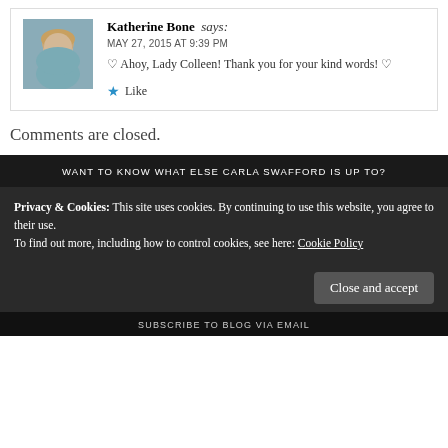Katherine Bone says: MAY 27, 2015 AT 9:39 PM ♡ Ahoy, Lady Colleen! Thank you for your kind words! ♡
★ Like
Comments are closed.
WANT TO KNOW WHAT ELSE CARLA SWAFFORD IS UP TO?
Privacy & Cookies: This site uses cookies. By continuing to use this website, you agree to their use. To find out more, including how to control cookies, see here: Cookie Policy
Close and accept
SUBSCRIBE TO BLOG VIA EMAIL